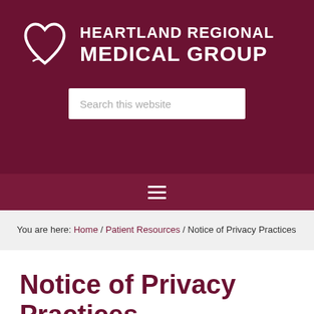[Figure (logo): Heartland Regional Medical Group logo: white heart outline icon on dark maroon background with organization name in white uppercase text]
Search this website
[Figure (other): Hamburger menu icon (three horizontal white lines) on dark maroon navigation bar]
You are here: Home / Patient Resources / Notice of Privacy Practices
Notice of Privacy Practices